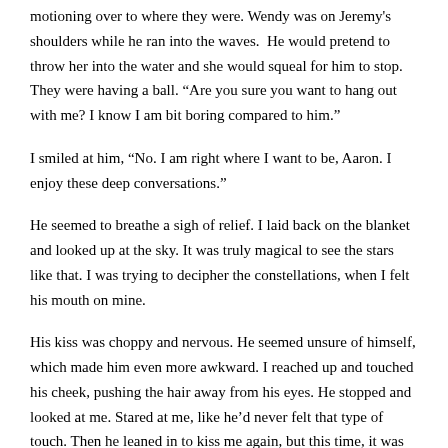motioning over to where they were. Wendy was on Jeremy's shoulders while he ran into the waves.  He would pretend to throw her into the water and she would squeal for him to stop. They were having a ball. “Are you sure you want to hang out with me? I know I am bit boring compared to him.”
I smiled at him, “No. I am right where I want to be, Aaron. I enjoy these deep conversations.”
He seemed to breathe a sigh of relief. I laid back on the blanket and looked up at the sky. It was truly magical to see the stars like that. I was trying to decipher the constellations, when I felt his mouth on mine.
His kiss was choppy and nervous. He seemed unsure of himself, which made him even more awkward. I reached up and touched his cheek, pushing the hair away from his eyes. He stopped and looked at me. Stared at me, like he’d never felt that type of touch. Then he leaned in to kiss me again, but this time, it was good.